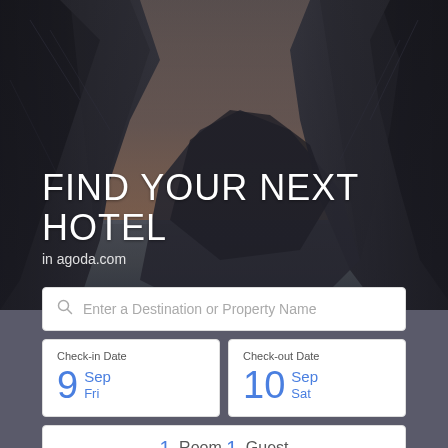[Figure (photo): Rocky coastal cliff cave formation with dramatic stormy sunset sky and ocean water visible through the opening]
FIND YOUR NEXT HOTEL
in agoda.com
Enter a Destination or Property Name
Check-in Date 9 Sep Fri
Check-out Date 10 Sep Sat
1 Room 1 Guest
Search